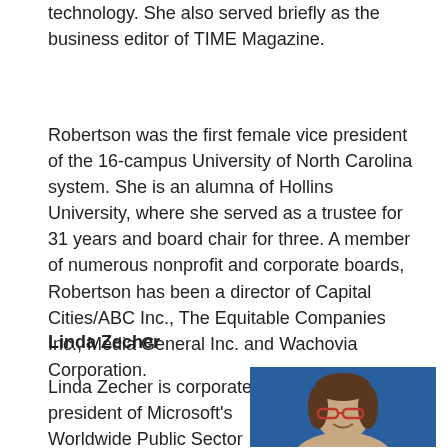technology. She also served briefly as the business editor of TIME Magazine.
Robertson was the first female vice president of the 16-campus University of North Carolina system. She is an alumna of Hollins University, where she served as a trustee for 31 years and board chair for three. A member of numerous nonprofit and corporate boards, Robertson has been a director of Capital Cities/ABC Inc., The Equitable Companies Inc., Media General Inc. and Wachovia Corporation.
Linda Zecher
Linda Zecher is corporate vice president of Microsoft's Worldwide Public Sector organization, leading a team of more than 1,900 sales and
[Figure (photo): Headshot photo of Linda Zecher, a woman with brown hair and red-framed glasses, smiling, against a blue background.]